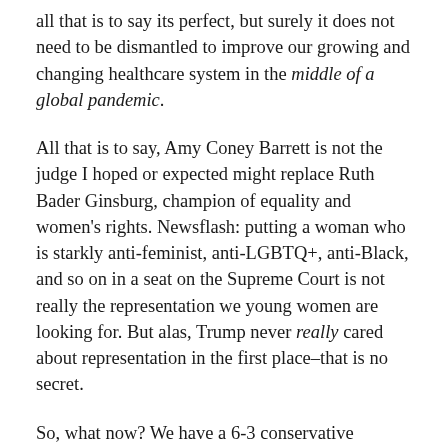all that is to say its perfect, but surely it does not need to be dismantled to improve our growing and changing healthcare system in the middle of a global pandemic.
All that is to say, Amy Coney Barrett is not the judge I hoped or expected might replace Ruth Bader Ginsburg, champion of equality and women's rights. Newsflash: putting a woman who is starkly anti-feminist, anti-LGBTQ+, anti-Black, and so on in a seat on the Supreme Court is not really the representation we young women are looking for. But alas, Trump never really cared about representation in the first place–that is no secret.
So, what now? We have a 6-3 conservative majority on the Supreme Court with a seat that is now, very evidently, stolen from Merrick Garland occupied by a conservative judge, as well as a woman who